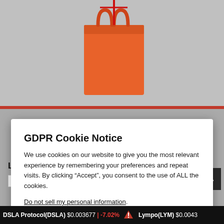[Figure (screenshot): Top portion of a webpage showing a red/orange shopping bag with red ribbon on a light gray background]
GDPR Cookie Notice
We use cookies on our website to give you the most relevant experience by remembering your preferences and repeat visits. By clicking “Accept”, you consent to the use of ALL the cookies.
Do not sell my personal information.
Cookie Settings   Accept
LEAVE A COMMENT
DSLA Protocol(DSLA) $0.003677 | -7.02%   Lympo(LYM) $0.0043